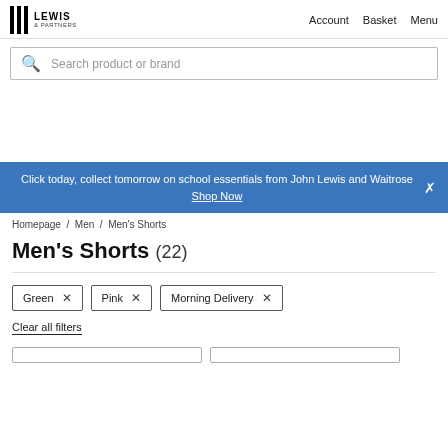LEWIS & PARTNERS — Account  Basket  Menu
[Figure (screenshot): Search bar with magnifying glass icon and placeholder text 'Search product or brand']
Click today, collect tomorrow on school essentials from John Lewis and Waitrose Shop Now
Homepage / Men / Men's Shorts
Men's Shorts (22)
Green ×  Pink ×  Morning Delivery ×
Clear all filters